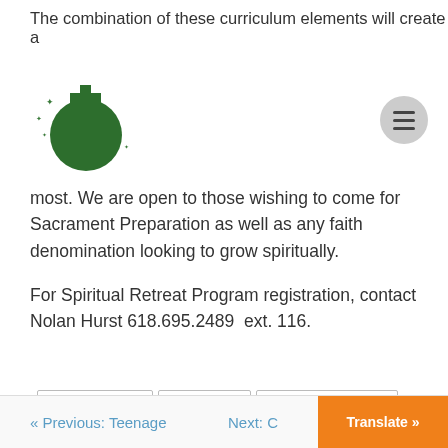The combination of these curriculum elements will create a
[Figure (logo): Camp Ondessonk logo: green circle with cross on top and small stars around it]
most. We are open to those wishing to come for Sacrament Preparation as well as any faith denomination looking to grow spiritually.
For Spiritual Retreat Program registration, contact Nolan Hurst 618.695.2489  ext. 116.
CAMP ONDESSONK
ILLINOIS CAMP
ILLINOIS SUMMER CAMP
NEW SPIRITUAL AND RETREAT PROGRAM OFFERINGS
TEEN SUMMER CAMP
YOUTH CAMP
« Previous: Teenage    Next: C    Translate »